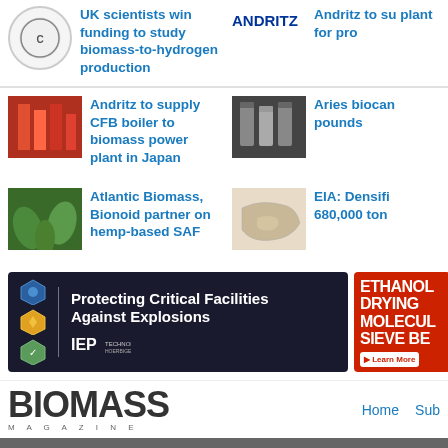UK scientists win funding to study biomass-to-hydrogen production
Andritz to supply CFB boiler to biomass power plant in Japan
Aries biocan... pounds
Atlantic Biomass, Bionoid partner on hemp-based SAF
EIA: Densifi... 680,000 ton...
[Figure (advertisement): IEP Technologies ad: Protecting Critical Facilities Against Explosions]
[Figure (advertisement): Ethanol Drying Molecular Sieve Beads ad with Learn More button]
BIOMASS MAGAZINE
Home  Sub
[Figure (other): Dark footer bar with white B box]